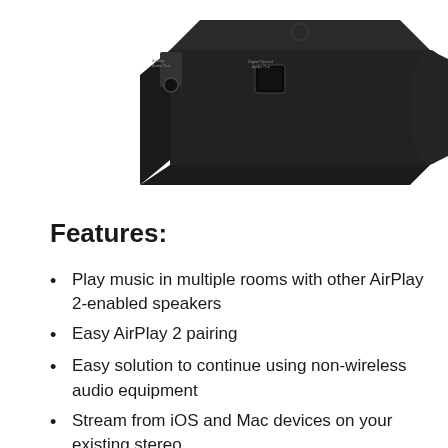[Figure (photo): Photo of a black electronic audio device (AirPlay 2 receiver/adapter) showing its back panel with analog audio out port and digital optical audio out port, viewed from a three-quarter angle against a white background.]
Features:
Play music in multiple rooms with other AirPlay 2-enabled speakers
Easy AirPlay 2 pairing
Easy solution to continue using non-wireless audio equipment
Stream from iOS and Mac devices on your existing stereo